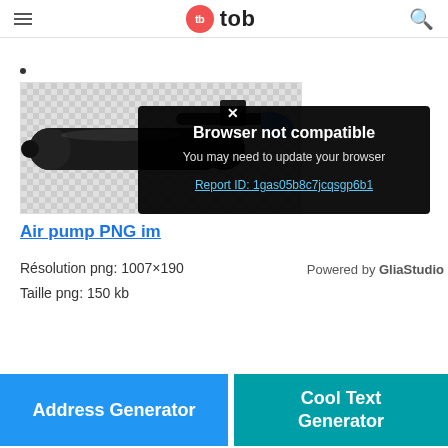tb tob
[Figure (photo): Air pump PNG image on transparent/checkered background with a black body and blue accent, partially covered by a 'Browser not compatible' modal dialog]
Air pump PNG im...
Résolution png: 1007×190
Taille png: 150 kb
Powered by GliaStudio
Address Generator
Cool Text Generator